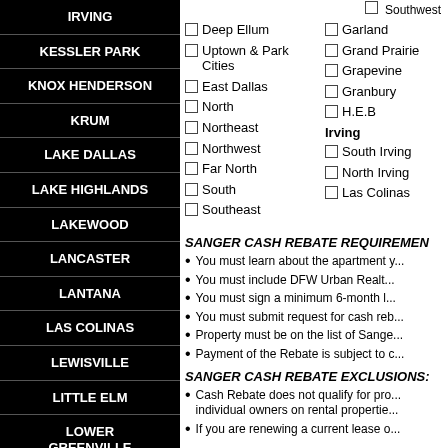IRVING
KESSLER PARK
KNOX HENDERSON
KRUM
LAKE DALLAS
LAKE HIGHLANDS
LAKEWOOD
LANCASTER
LANTANA
LAS COLINAS
LEWISVILLE
LITTLE ELM
LOWER GREENVILLE
LUCAS
Southwest (partial, top of page)
Deep Ellum
Uptown & Park Cities
East Dallas
North
Northeast
Northwest
Far North
South
Southeast
Garland
Grand Prairie
Grapevine
Granbury
H.E.B
Irving
South Irving
North Irving
Las Colinas
SANGER CASH REBATE REQUIREMENTS:
You must learn about the apartment y...
You must include DFW Urban Realt...
You must sign a minimum 6-month l...
You must submit request for cash reb...
Property must be on the list of Sange...
Payment of the Rebate is subject to c...
SANGER CASH REBATE EXCLUSIONS:
Cash Rebate does not qualify for pro... individual owners on rental properties...
If you are renewing a current lease o...